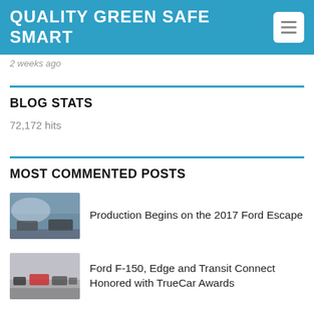QUALITY GREEN SAFE SMART
2 weeks ago
BLOG STATS
72,172 hits
MOST COMMENTED POSTS
Production Begins on the 2017 Ford Escape
Ford F-150, Edge and Transit Connect Honored with TrueCar Awards